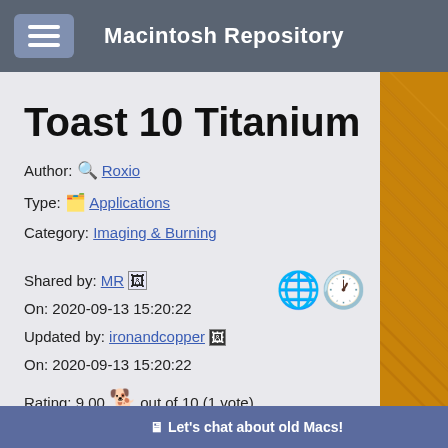Macintosh Repository
Toast 10 Titanium
Author: 🔍 Roxio
Type: 🗂 Applications
Category: Imaging & Burning
Shared by: MR 🖼
On: 2020-09-13 15:20:22
Updated by: ironandcopper 🖼
On: 2020-09-13 15:20:22
Rating: 9.00 🐕 out of 10 (1 vote)
Rate it: 🐕🐕🐕🐕🐕🐕🐕🐕🐕🐕
Let's chat about old Macs!